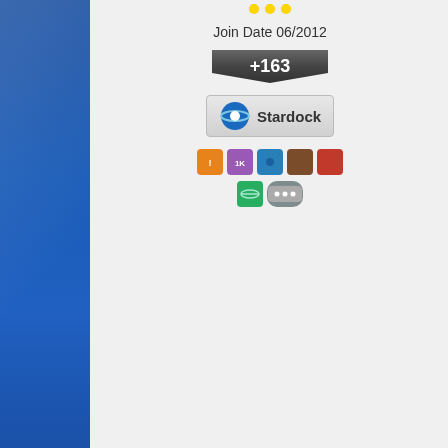Join Date 06/2012
[Figure (infographic): Reputation badge showing +163 in a pentagon/shield shape]
[Figure (logo): Stardock logo badge with planet/rocket icon and Stardock text]
[Figure (infographic): Row of small achievement/badge icons in orange, purple, blue, brown, red colors]
[Figure (infographic): Row of small icons including green globe and gray ellipsis badge]
and the inescapable reality that, inordinate amount of influence a see and talk about.
“We don’t let 1 person control the control electricity for 2.5 billion p information seen by 2.5 billion pe not ruled by an emperor!”
Tech titan and billionaire Elon Mu Ignoring the irony of using one s platform, this has stirred up fresh
There are some for whom the inf to meet people, have their opinio Puppeteer YouTuber Barnaby Di series The Dark Crystal: Age of R
The concerns about how much o controlled by a minority of people